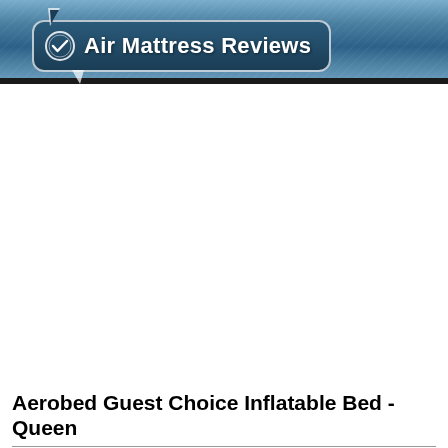[Figure (logo): Air Mattress Reviews logo — dark blue rounded rectangle badge with a checkmark circle icon on the left and bold white text 'Air Mattress Reviews', with a speech-bubble tail pointing downward-left.]
Aerobed Guest Choice Inflatable Bed - Queen